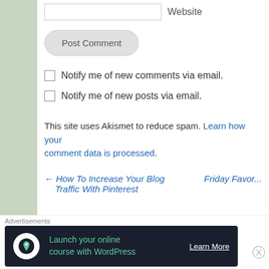Website
Post Comment
Notify me of new comments via email.
Notify me of new posts via email.
This site uses Akismet to reduce spam. Learn how your comment data is processed.
← How To Increase Your Blog Traffic With Pinterest
Friday Favorites
Advertisements
[Figure (infographic): Advertisement banner for WordPress online course: 'Launch your online course with WordPress' with Learn More button]